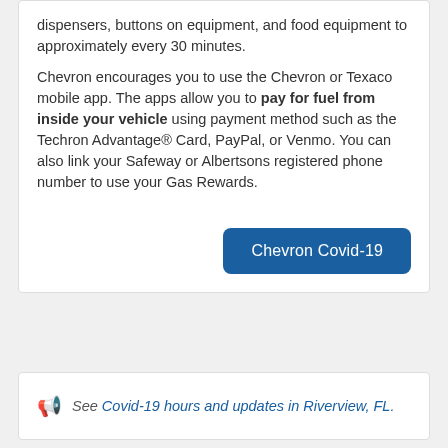dispensers, buttons on equipment, and food equipment to approximately every 30 minutes.
Chevron encourages you to use the Chevron or Texaco mobile app. The apps allow you to pay for fuel from inside your vehicle using payment method such as the Techron Advantage® Card, PayPal, or Venmo. You can also link your Safeway or Albertsons registered phone number to use your Gas Rewards.
Chevron Covid-19
See Covid-19 hours and updates in Riverview, FL.